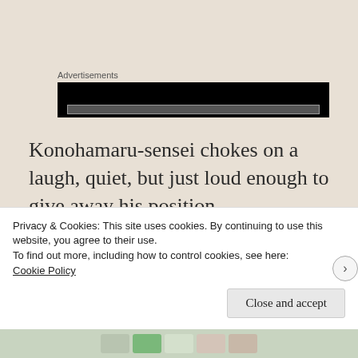Advertisements
[Figure (other): Black advertisement banner block]
Konohamaru-sensei chokes on a laugh, quiet, but just loud enough to give away his position.
His students pounce.
They surround him, their tiny hands wide from
Privacy & Cookies: This site uses cookies. By continuing to use this website, you agree to their use.
To find out more, including how to control cookies, see here:
Cookie Policy
Close and accept